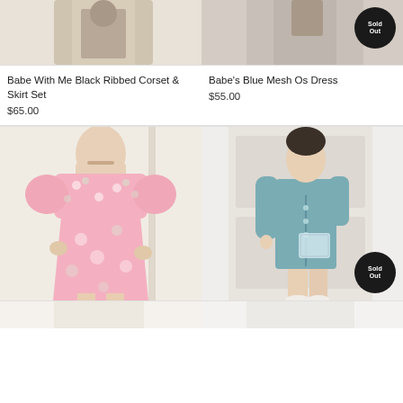[Figure (photo): Top-cropped product photo of black ribbed corset and skirt set on model, partially visible]
[Figure (photo): Top-cropped product photo of blue mesh dress on model with Sold Out badge, partially visible]
Babe With Me Black Ribbed Corset & Skirt Set
$65.00
Babe's Blue Mesh Os Dress
$55.00
[Figure (photo): Model wearing pink floral off-shoulder mini dress, full photo visible]
[Figure (photo): Model wearing teal/blue ribbed mini dress with long sleeves, with Sold Out badge]
[Figure (photo): Bottom portion of next product row, partially visible]
[Figure (photo): Bottom portion of next product row right column, partially visible]